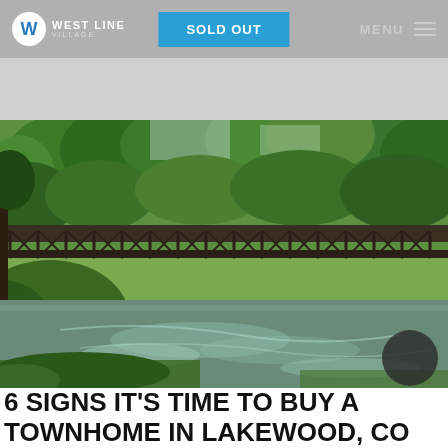West Line Village | SOLD OUT | MENU
[Figure (photo): A metal truss pedestrian bridge over a shallow river, surrounded by green trees and lush vegetation in summer. A dark circular overlay element is visible in the bottom right corner of the image.]
6 SIGNS IT'S TIME TO BUY A TOWNHOME IN LAKEWOOD, CO